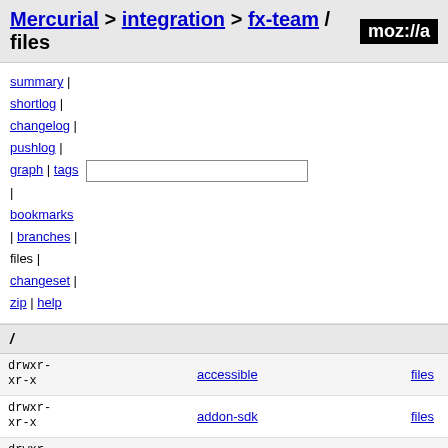Mercurial > integration > fx-team / files moz://a
summary | shortlog | changelog | pushlog | graph | tags | bookmarks | branches | files | changeset | zip | help
/
| permissions | name | action |
| --- | --- | --- |
| drwxr-xr-x | accessible | files |
| drwxr-xr-x | addon-sdk | files |
| drwxr-xr-x | b2g | files |
| drwxr-xr-x | browser | files |
| drwxr-xr-x | build | files |
| drwxr-xr-x | caps | files |